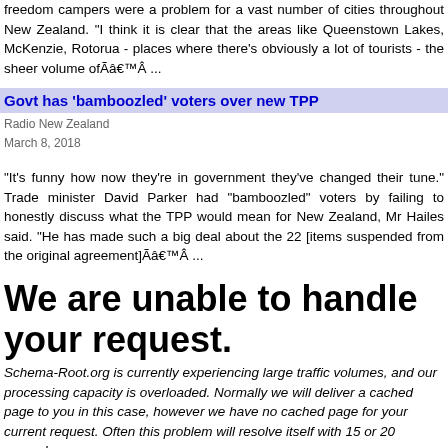freedom campers were a problem for a vast number of cities throughout New Zealand. "I think it is clear that the areas like Queenstown Lakes, McKenzie, Rotorua - places where there's obviously a lot of tourists - the sheer volume ofÃâ€™Â …
Govt has 'bamboozled' voters over new TPP
Radio New Zealand
March 8, 2018
"It's funny how now they're in government they've changed their tune." Trade minister David Parker had "bamboozled" voters by failing to honestly discuss what the TPP would mean for New Zealand, Mr Hailes said. "He has made such a big deal about the 22 [items suspended from the original agreement]Ãâ€™Â …
We are unable to handle your request.
Schema-Root.org is currently experiencing large traffic volumes, and our processing capacity is overloaded. Normally we will deliver a cached page to you in this case, however we have no cached page for your current request. Often this problem will resolve itself with 15 or 20 seconds.

We apologize for the inconvenience.